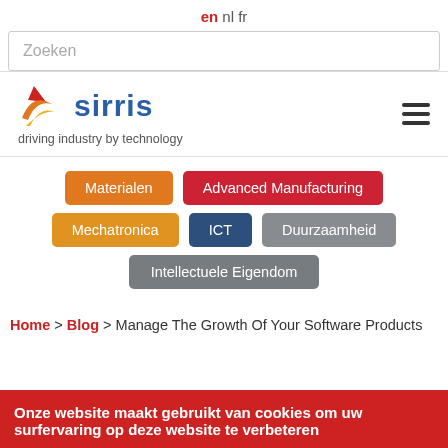en nl fr
Zoeken
[Figure (logo): Sirris logo with swoosh mark and text 'sirris' in blue, tagline 'driving industry by technology']
Materialen
Advanced Manufacturing
Mechatronica
ICT
Duurzaamheid
Intellectuele Eigendom
Home > Blog > Manage The Growth Of Your Software Products
Onze website maakt gebruikt van cookies om uw surfervaring op deze website te verbeteren